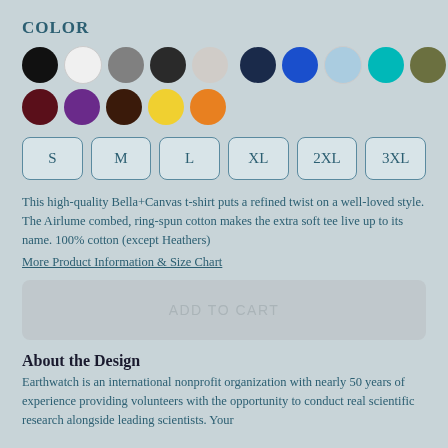COLOR
[Figure (other): Color swatches: row 1 — black, white, gray, dark gray, light gray, [gap], navy, blue, light blue, teal, olive, green (selected/outlined), pink; row 2 — dark red/maroon, purple, dark brown, yellow, orange]
[Figure (other): Size selector buttons: S, M, L, XL, 2XL, 3XL]
This high-quality Bella+Canvas t-shirt puts a refined twist on a well-loved style. The Airlume combed, ring-spun cotton makes the extra soft tee live up to its name. 100% cotton (except Heathers)
More Product Information & Size Chart
[Figure (other): Add to Cart button (grayed out/disabled)]
About the Design
Earthwatch is an international nonprofit organization with nearly 50 years of experience providing volunteers with the opportunity to conduct real scientific research alongside leading scientists. Your